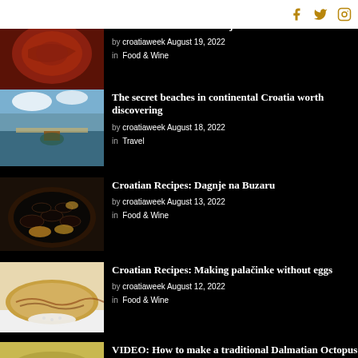Social icons: Facebook, Twitter, Instagram
How to make homemade ajvar
by croatiaweek   August 19, 2022
in   Food & Wine
[Figure (photo): Close-up of red ajvar (roasted pepper spread) in a pan]
The secret beaches in continental Croatia worth discovering
by croatiaweek   August 18, 2022
in   Travel
[Figure (photo): A lake or river beach in continental Croatia with boats and blue sky]
Croatian Recipes: Dagnje na Buzaru
by croatiaweek   August 13, 2022
in   Food & Wine
[Figure (photo): A pan of mussels (dagnje na buzaru) with lemon slices]
Croatian Recipes: Making palačinke without eggs
by croatiaweek   August 12, 2022
in   Food & Wine
[Figure (photo): A palačinka (Croatian crepe) with chocolate sauce and powdered sugar]
VIDEO: How to make a traditional Dalmatian Octopus Peke
[Figure (photo): Octopus dish being prepared under a peke (bell)]